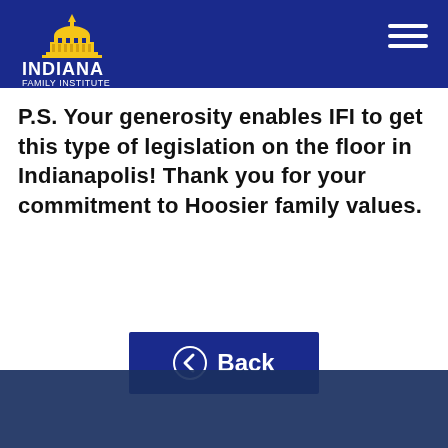Indiana Family Institute
P.S. Your generosity enables IFI to get this type of legislation on the floor in Indianapolis! Thank you for your commitment to Hoosier family values.
[Figure (other): Back navigation button with left chevron icon and text 'Back' on dark blue background]